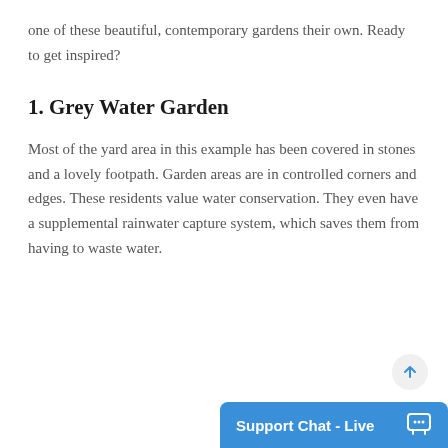one of these beautiful, contemporary gardens their own. Ready to get inspired?
1. Grey Water Garden
Most of the yard area in this example has been covered in stones and a lovely footpath. Garden areas are in controlled corners and edges. These residents value water conservation. They even have a supplemental rainwater capture system, which saves them from having to waste water.